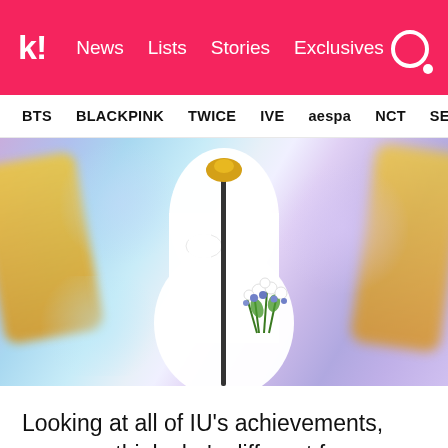k! News Lists Stories Exclusives
BTS BLACKPINK TWICE IVE aespa NCT SEVE
[Figure (photo): Person wearing a white long dress holding a bouquet of white and blue flowers and a dark cane/scepter, standing in front of a colorful blurred background with yellow shapes on the sides]
Looking at all of IU's achievements, you may think she's different from regular humans like us.